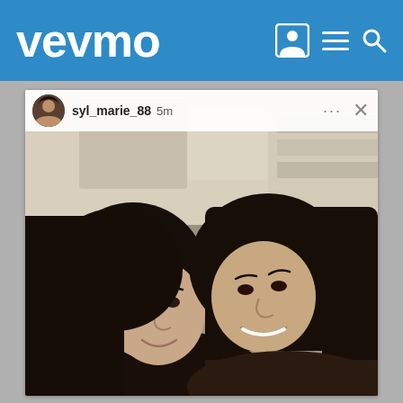vevmo
[Figure (screenshot): Social media app screenshot showing a post by user syl_marie_88 posted 5 minutes ago, with a selfie photo of two young women with dark hair smiling together indoors near a staircase.]